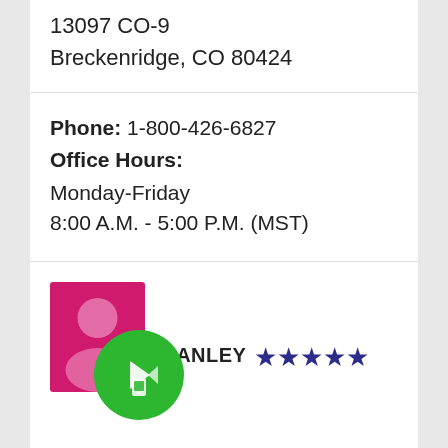13097 CO-9
Breckenridge, CO 80424
Phone: 1-800-426-6827
Office Hours:
Monday-Friday
8:00 A.M. - 5:00 P.M. (MST)
[Figure (illustration): Pink avatar/profile image with person silhouette icon, with a green circle button overlay containing a phone/device icon]
MANLEY ★★★★★
Snowbridge rescued us this weekend!